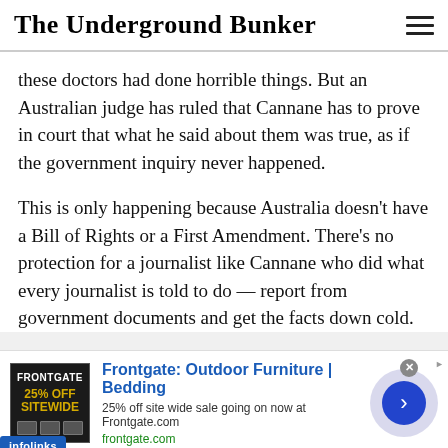The Underground Bunker
these doctors had done horrible things. But an Australian judge has ruled that Cannane has to prove in court that what he said about them was true, as if the government inquiry never happened.
This is only happening because Australia doesn’t have a Bill of Rights or a First Amendment. There’s no protection for a journalist like Cannane who did what every journalist is told to do — report from government documents and get the facts down cold.
[Figure (screenshot): Advertisement banner for Frontgate: Outdoor Furniture | Bedding with infolinks badge overlay. Shows 25% off sitewide sale at Frontgate.com with product image and navigation arrow.]